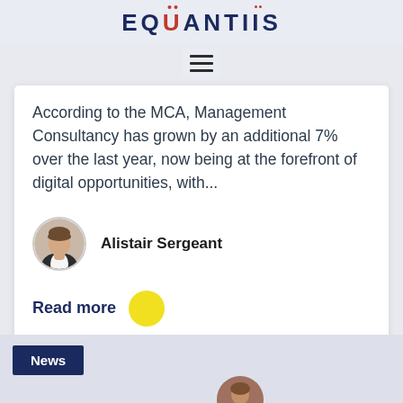EQUANTIIS
[Figure (other): Hamburger menu icon (three horizontal lines)]
According to the MCA, Management Consultancy has grown by an additional 7% over the last year, now being at the forefront of digital opportunities, with...
[Figure (photo): Circular portrait photo of Alistair Sergeant]
Alistair Sergeant
Read more
[Figure (other): Yellow circle arrow button]
News
[Figure (photo): Partial circular portrait photo at bottom of page]